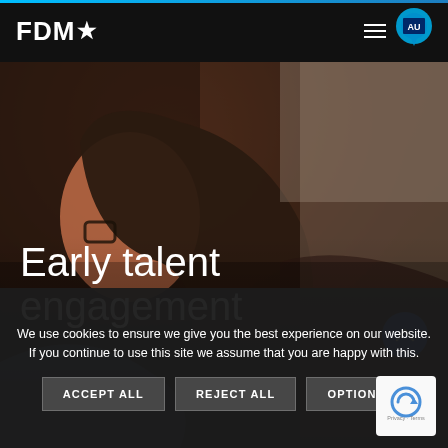FDM★ [hamburger menu] [location pin] [AU flag]
[Figure (photo): Young woman with long dark hair and glasses looking down, working at a desk. Background shows an office environment. Hero image for 'Early talent engagement' page on FDM website.]
Early talent engagement
We use cookies to ensure we give you the best experience on our website. If you continue to use this site we assume that you are happy with this.
ACCEPT ALL
REJECT ALL
OPTIONS